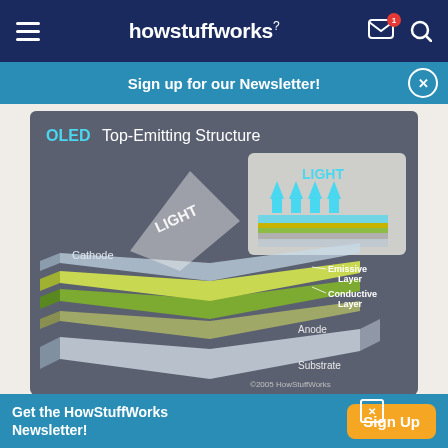howstuffworks
Sign up for our Newsletter!
[Figure (engineering-diagram): OLED Top-Emitting Structure diagram showing layered structure: Substrate, Anode, Conductive Layer, Emissive Layer, Cathode, with light emitting upward. Includes inset showing blue arrows indicating LIGHT direction upward from layered cross-section.]
Get the HowStuffWorks Newsletter!